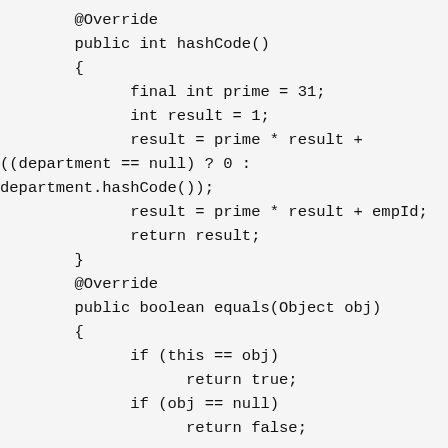@Override
public int hashCode()
{
    final int prime = 31;
    int result = 1;
    result = prime * result +
((department == null) ? 0 :
department.hashCode());
    result = prime * result + empId;
    return result;
}
@Override
public boolean equals(Object obj)
{
    if (this == obj)
        return true;
    if (obj == null)
        return false;